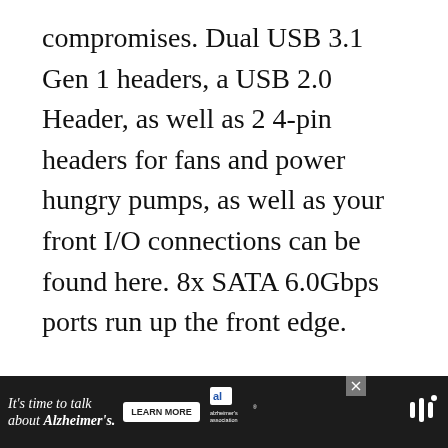compromises. Dual USB 3.1 Gen 1 headers, a USB 2.0 Header, as well as 2 4-pin headers for fans and power hungry pumps, as well as your front I/O connections can be found here. 8x SATA 6.0Gbps ports run up the front edge.
[Figure (photo): A large light gray placeholder image area for a product photo, with social interaction icons (heart/like button in blue, count of 1, and share button) on the right side.]
[Figure (infographic): A dark advertisement banner at the bottom reading "It's time to talk about Alzheimer's." with a LEARN MORE button and the Alzheimer's Association logo.]